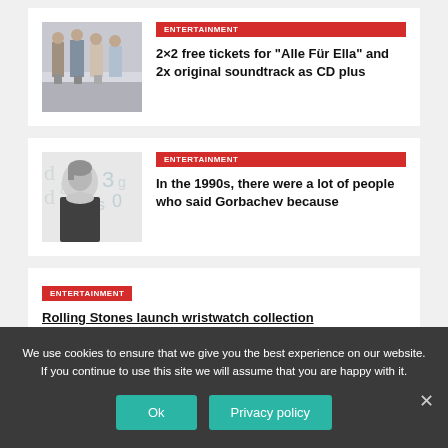[Figure (photo): Photo of women standing at an airport with luggage]
ENTERTAINMENT
2×2 free tickets for “Alle Für Ella” and 2x original soundtrack as CD plus
[Figure (photo): Black and white photo of a woman with decorative letter/number graphics]
ENTERTAINMENT
In the 1990s, there were a lot of people who said Gorbachev because
ENTERTAINMENT
Rolling Stones launch wristwatch collection
We use cookies to ensure that we give you the best experience on our website. If you continue to use this site we will assume that you are happy with it.
Ok
Privacy policy